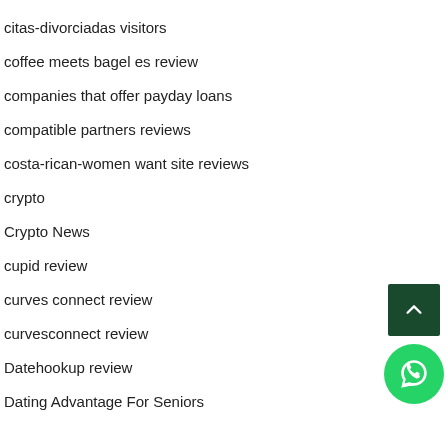citas-divorciadas visitors
coffee meets bagel es review
companies that offer payday loans
compatible partners reviews
costa-rican-women want site reviews
crypto
Crypto News
cupid review
curves connect review
curvesconnect review
Datehookup review
Dating Advantage For Seniors